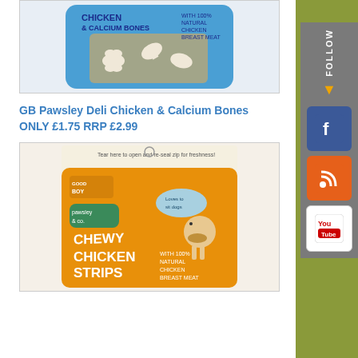[Figure (photo): Product photo of GB Pawsley Deli Chicken & Calcium Bones dog treat package, blue background with bone-shaped treats visible]
GB Pawsley Deli Chicken & Calcium Bones ONLY £1.75 RRP £2.99
[Figure (photo): Product photo of Good Boy Pawsley & Co. Chewy Chicken Strips dog treat package, orange background with cartoon dog illustration]